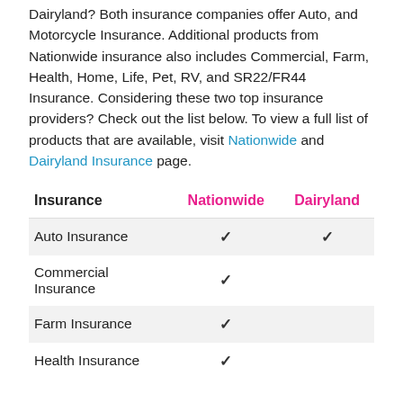Dairyland? Both insurance companies offer Auto, and Motorcycle Insurance. Additional products from Nationwide insurance also includes Commercial, Farm, Health, Home, Life, Pet, RV, and SR22/FR44 Insurance. Considering these two top insurance providers? Check out the list below. To view a full list of products that are available, visit Nationwide and Dairyland Insurance page.
| Insurance | Nationwide | Dairyland |
| --- | --- | --- |
| Auto Insurance | ✓ | ✓ |
| Commercial Insurance | ✓ |  |
| Farm Insurance | ✓ |  |
| Health Insurance | ✓ |  |